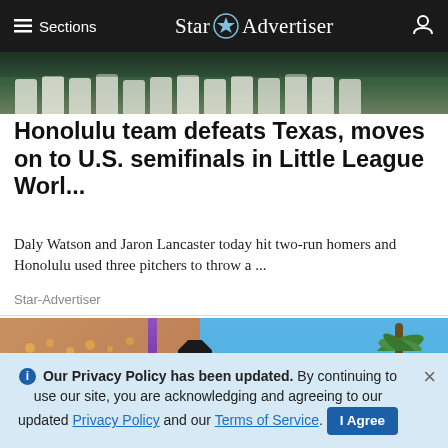≡ Sections  Star Advertiser
[Figure (photo): Top banner photo showing baseball players in uniform standing on a field]
Honolulu team defeats Texas, moves on to U.S. semifinals in Little League Worl...
Daly Watson and Jaron Lancaster today hit two-run homers and Honolulu used three pitchers to throw a ...
Star-Advertiser
[Figure (photo): Outdoor scene showing a street or market area with palm trees, blue sky, a stop sign, and a person's hand in the foreground, possibly holding a phone or drink]
ℹ Our Privacy Policy has been updated. By continuing to use our site, you are acknowledging and agreeing to our updated Privacy Policy and our Terms of Service. I Agree